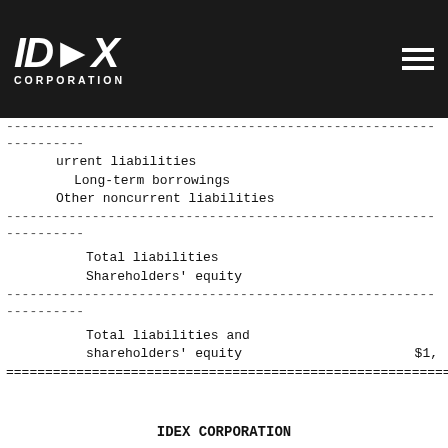IDEX CORPORATION
Dividends payable
Total current liabilities
Long-term borrowings
Other noncurrent liabilities
Total liabilities
Shareholders' equity
Total liabilities and shareholders' equity    $1,
IDEX CORPORATION
Company and Business Group Financial
(dollars in thousands)
Third Quarter Ended
September 30,
2006        2005